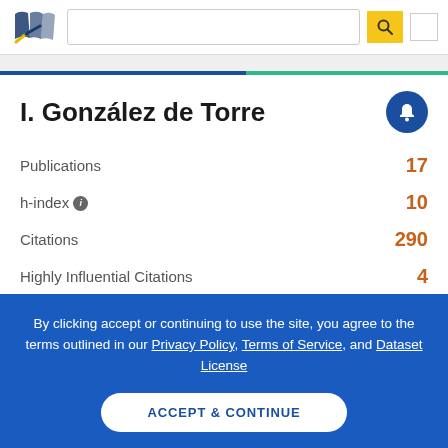[Figure (logo): Semantic Scholar logo — stylized book pages in navy/gold with a blue and gold checkmark]
I. González de Torre
| Metric | Value |
| --- | --- |
| Publications | 17 |
| h-index ℹ | 10 |
| Citations | 290 |
| Highly Influential Citations | 4 |
By clicking accept or continuing to use the site, you agree to the terms outlined in our Privacy Policy, Terms of Service, and Dataset License
ACCEPT & CONTINUE